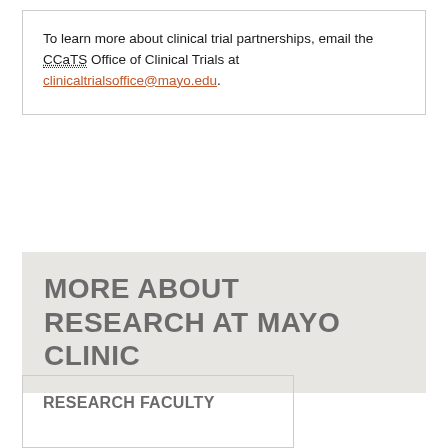To learn more about clinical trial partnerships, email the CCaTS Office of Clinical Trials at clinicaltrialsoffice@mayo.edu.
MORE ABOUT RESEARCH AT MAYO CLINIC
RESEARCH FACULTY